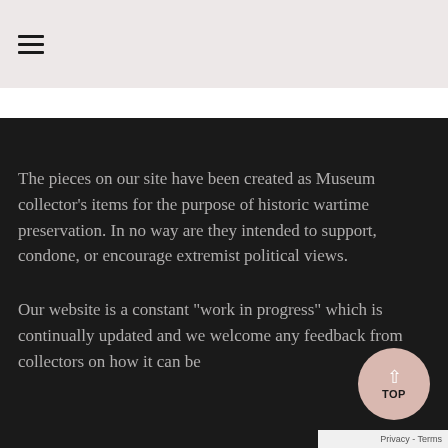≡
The pieces on our site have been created as Museum collector's items for the purpose of historic wartime preservation. In no way are they intended to support, condone, or encourage extremist political views.
Our website is a constant "work in progress" which is continually updated and we welcome any feedback from collectors on how it can be